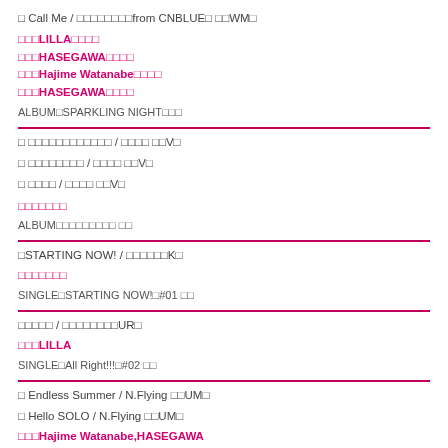♩ Call Me / □□□□□□□□from CNBLUE□ □□WM□
□□□LILLA□□□□
□□□HASEGAWA□□□□
□□□Hajime Watanabe□□□□
□□□HASEGAWA□□□□
ALBUM□SPARKLING NIGHT□□□
□ □□□□□□□□□□□□ / □□□□ □□V□
□ □□□□□□□□ / □□□□ □□V□
□ □□□□ / □□□□ □□V□
□□□□□□□
ALBUM□□□□□□□□□ □□
□STARTING NOW! / □□□□□□K□
□□□□□□□
SINGLE□STARTING NOW!□#01 □□
□□□□□ / □□□□□□□□UR□
□□□LILLA
SINGLE□All Right!!!□#02 □□
□ Endless Summer / N.Flying □□UM□
□ Hello SOLO / N.Flying □□UM□
□□□Hajime Watanabe,HASEGAWA
□□□anan